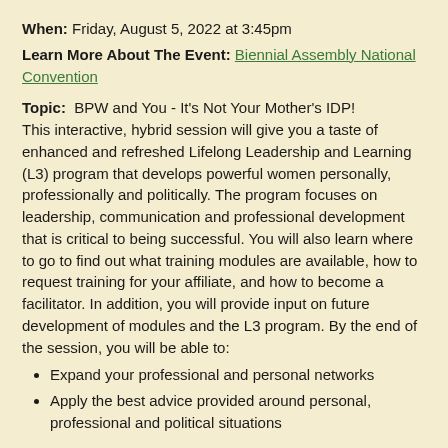When: Friday, August 5, 2022 at 3:45pm
Learn More About The Event: Biennial Assembly National Convention
Topic: BPW and You - It's Not Your Mother's IDP! This interactive, hybrid session will give you a taste of enhanced and refreshed Lifelong Leadership and Learning (L3) program that develops powerful women personally, professionally and politically. The program focuses on leadership, communication and professional development that is critical to being successful. You will also learn where to go to find out what training modules are available, how to request training for your affiliate, and how to become a facilitator. In addition, you will provide input on future development of modules and the L3 program. By the end of the session, you will be able to:
Expand your professional and personal networks
Apply the best advice provided around personal, professional and political situations